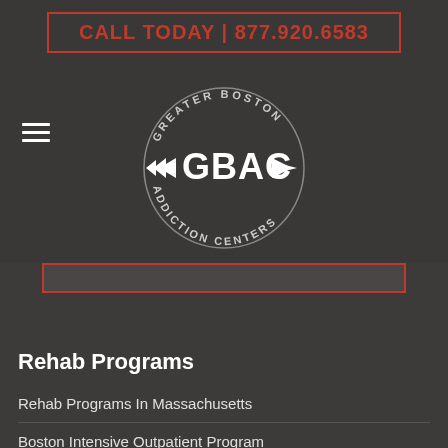CALL TODAY | 877.920.6583
[Figure (logo): Greater Boston Addiction Centers (GBAC) circular logo with arrows and text around the circle]
Rehab Programs
Rehab Programs In Massachusetts
Boston Intensive Outpatient Program
Partial Hospitalization Program